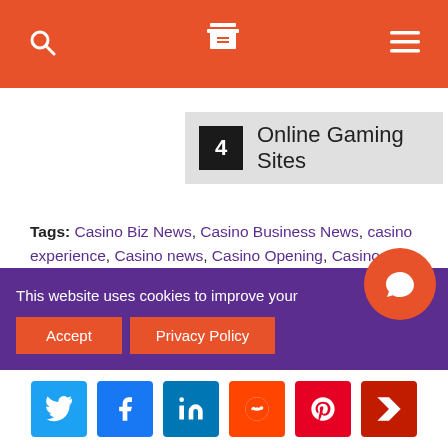Navigation header with search, menu, and hamburger icons
4 Online Gaming Sites
Tags: Casino Biz News, Casino Business News, casino experience, Casino news, Casino Opening, Casino renovations, Casino Revenue, Casino Revenue Trends, Casino Trends, Casinos Looking Back 2019, Casinos New England, Encore Boston Harbor, Foxwoods Casino, Looking Back 2019, MGM Springfield Casino Hotel, Mohegan Sun Casino, New England, New England Casino, New England Casinos, New England Casinos 2019, New England Casinos
This website uses cookies to improve your experience.
Social share buttons: Twitter, Facebook, LinkedIn, Reddit, Pinterest, Flipboard